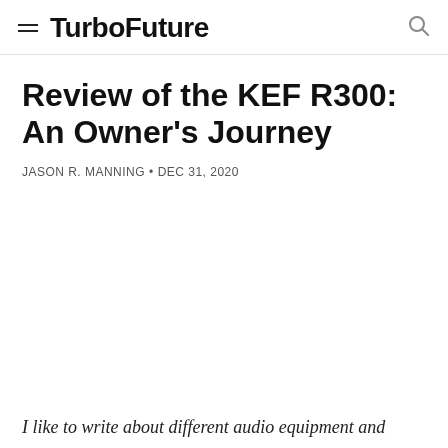TurboFuture
Review of the KEF R300: An Owner's Journey
JASON R. MANNING • DEC 31, 2020
I like to write about different audio equipment and